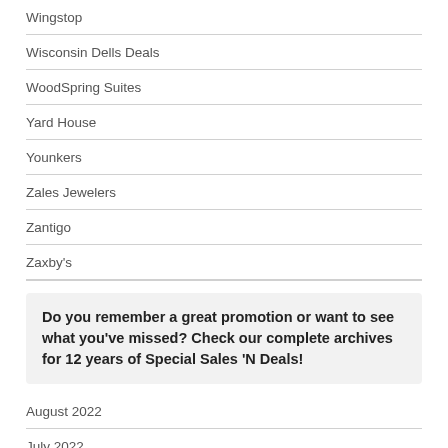Wingstop
Wisconsin Dells Deals
WoodSpring Suites
Yard House
Younkers
Zales Jewelers
Zantigo
Zaxby's
Do you remember a great promotion or want to see what you've missed? Check our complete archives for 12 years of Special Sales 'N Deals!
August 2022
July 2022
June 2022